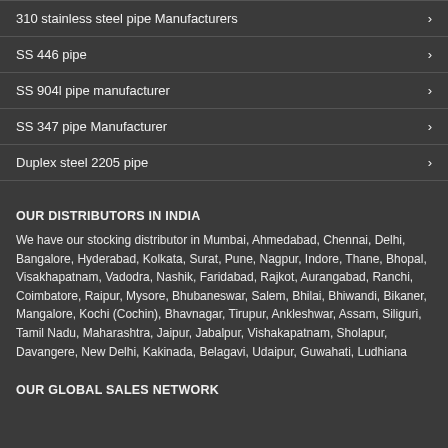310 stainless steel pipe Manufacturers
SS 446 pipe
SS 904l pipe manufacturer
SS 347 pipe Manufacturer
Duplex steel 2205 pipe
OUR DISTRIBUTORS IN INDIA
We have our stocking distributor in Mumbai, Ahmedabad, Chennai, Delhi, Bangalore, Hyderabad, Kolkata, Surat, Pune, Nagpur, Indore, Thane, Bhopal, Visakhapatnam, Vadodra, Nashik, Faridabad, Rajkot, Aurangabad, Ranchi, Coimbatore, Raipur, Mysore, Bhubaneswar, Salem, Bhilai, Bhiwandi, Bikaner, Mangalore, Kochi (Cochin), Bhavnagar, Tirupur, Ankleshwar, Assam, Siliguri, Tamil Nadu, Maharashtra, Jaipur, Jabalpur, Vishakapatnam, Sholapur, Davangere, New Delhi, Kakinada, Belagavi, Udaipur, Guwahati, Ludhiana
OUR GLOBAL SALES NETWORK